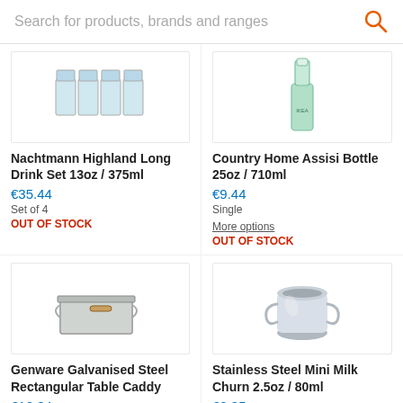Search for products, brands and ranges
[Figure (photo): Nachtmann Highland Long Drink Set - set of 4 crystal glasses shown from above]
Nachtmann Highland Long Drink Set 13oz / 375ml
€35.44
Set of 4
OUT OF STOCK
[Figure (photo): Country Home Assisi green glass bottle 25oz / 710ml]
Country Home Assisi Bottle 25oz / 710ml
€9.44
Single
More options
OUT OF STOCK
[Figure (photo): Genware Galvanised Steel Rectangular Table Caddy with wooden handle]
Genware Galvanised Steel Rectangular Table Caddy
€12.34
Single
OUT OF STOCK
[Figure (photo): Stainless Steel Mini Milk Churn 2.5oz / 80ml with two side handles]
Stainless Steel Mini Milk Churn 2.5oz / 80ml
€2.35
Single